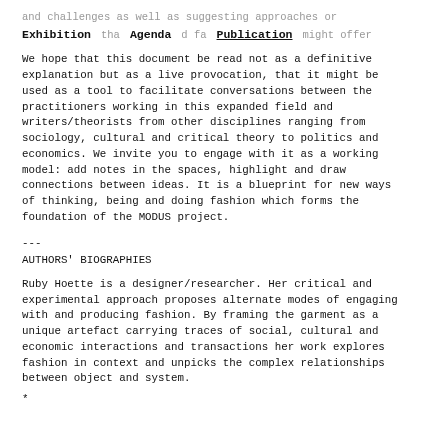and challenges as well as suggesting approaches or
Exhibition   Agenda   Publication   that field fashion might offer
We hope that this document be read not as a definitive explanation but as a live provocation, that it might be used as a tool to facilitate conversations between the practitioners working in this expanded field and writers/theorists from other disciplines ranging from sociology, cultural and critical theory to politics and economics. We invite you to engage with it as a working model: add notes in the spaces, highlight and draw connections between ideas. It is a blueprint for new ways of thinking, being and doing fashion which forms the foundation of the MODUS project.
---
AUTHORS' BIOGRAPHIES
Ruby Hoette is a designer/researcher. Her critical and experimental approach proposes alternate modes of engaging with and producing fashion. By framing the garment as a unique artefact carrying traces of social, cultural and economic interactions and transactions her work explores fashion in context and unpicks the complex relationships between object and system.
*